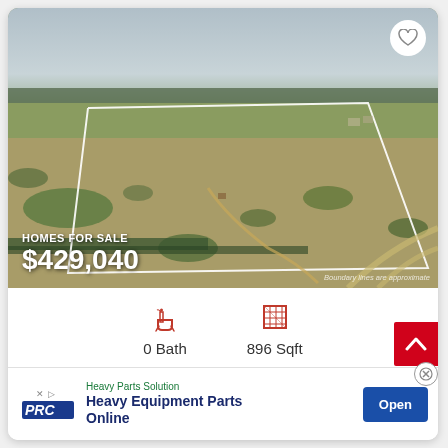[Figure (photo): Aerial drone photo of a large land parcel for sale, showing open fields, scattered trees, dirt paths, and surrounding rural landscape. A white boundary line outlines the property. Roads visible in lower right corner.]
HOMES FOR SALE
$429,040
Boundary lines are approximate
0 Bath
896 Sqft
Heavy Parts Solution
Heavy Equipment Parts Online
Open